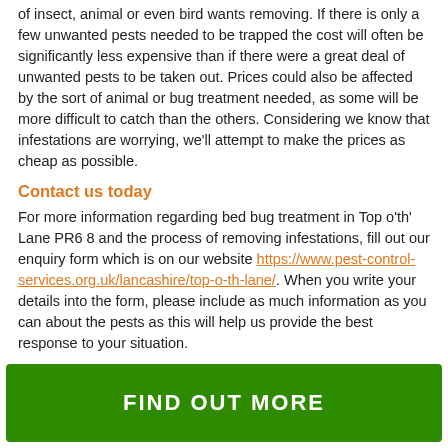of insect, animal or even bird wants removing. If there is only a few unwanted pests needed to be trapped the cost will often be significantly less expensive than if there were a great deal of unwanted pests to be taken out. Prices could also be affected by the sort of animal or bug treatment needed, as some will be more difficult to catch than the others. Considering we know that infestations are worrying, we'll attempt to make the prices as cheap as possible.
Contact us today
For more information regarding bed bug treatment in Top o'th' Lane PR6 8 and the process of removing infestations, fill out our enquiry form which is on our website https://www.pest-control-services.org.uk/lancashire/top-o-th-lane/. When you write your details into the form, please include as much information as you can about the pests as this will help us provide the best response to your situation.
FIND OUT MORE